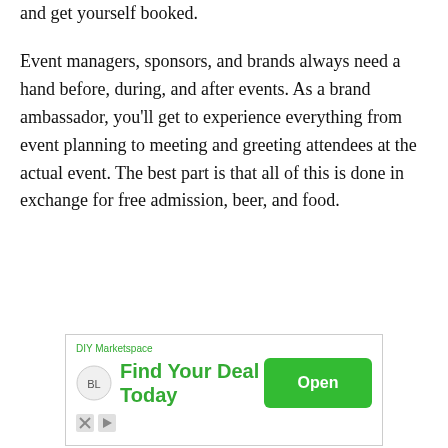and get yourself booked.
Event managers, sponsors, and brands always need a hand before, during, and after events. As a brand ambassador, you’ll get to experience everything from event planning to meeting and greeting attendees at the actual event. The best part is that all of this is done in exchange for free admission, beer, and food.
[Figure (other): Advertisement banner for DIY Marketspace / BookLynk showing 'Find Your Deal Today' with a green Open button and ad footer icons.]